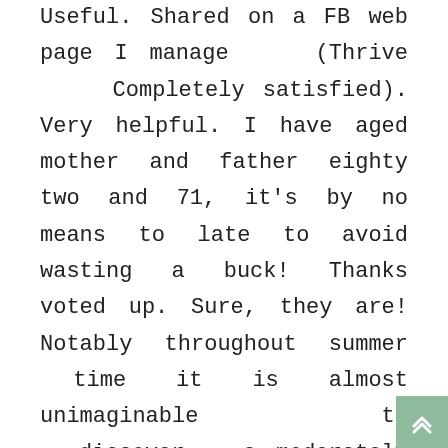Useful. Shared on a FB web page I manage (Thrive Completely satisfied). Very helpful. I have aged mother and father eighty two and 71, it's by no means to late to avoid wasting a buck! Thanks voted up. Sure, they are! Notably throughout summer time it is almost unimaginable to discover a moderately priced flight. The same goes for Christmas. So you probably have the opportunity to book your flight across the holidays, then do not hesitate to do so. Leah-it is a